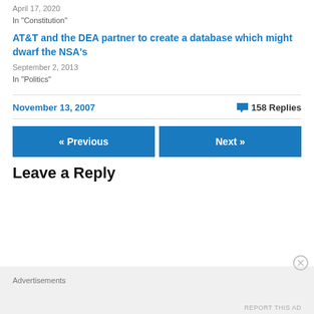April 17, 2020
In "Constitution"
AT&T and the DEA partner to create a database which might dwarf the NSA's
September 2, 2013
In "Politics"
November 13, 2007    💬 158 Replies
« Previous    Next »
Leave a Reply
Advertisements
REPORT THIS AD